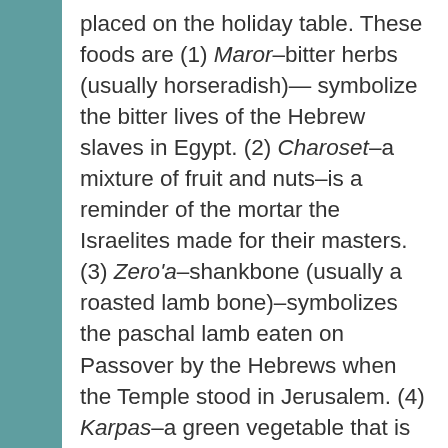placed on the holiday table. These foods are (1) Maror–bitter herbs (usually horseradish)— symbolize the bitter lives of the Hebrew slaves in Egypt. (2) Charoset–a mixture of fruit and nuts–is a reminder of the mortar the Israelites made for their masters. (3) Zero'a–shankbone (usually a roasted lamb bone)–symbolizes the paschal lamb eaten on Passover by the Hebrews when the Temple stood in Jerusalem. (4) Karpas–a green vegetable that is dipped in salt water–suggests springtime and rebirth. (5) Baytza–roasted egg–represents the sacrifices brought to the